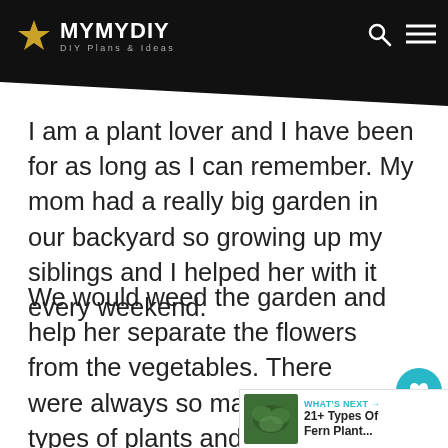MYMYDIY — DIY Plans & Ideas
I am a plant lover and I have been for as long as I can remember. My mom had a really big garden in our backyard so growing up my siblings and I helped her with it every weekend.
We would weed the garden and help her separate the flowers from the vegetables. There were always so many different types of plants and flo she had planted, but what caught my